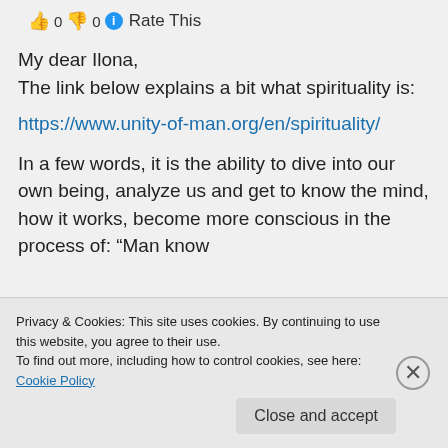👍 0 👎 0 ℹ Rate This
My dear Ilona,
The link below explains a bit what spirituality is:
https://www.unity-of-man.org/en/spirituality/
In a few words, it is the ability to dive into our own being, analyze us and get to know the mind, how it works, become more conscious in the process of: "Man know
Privacy & Cookies: This site uses cookies. By continuing to use this website, you agree to their use.
To find out more, including how to control cookies, see here: Cookie Policy
Close and accept